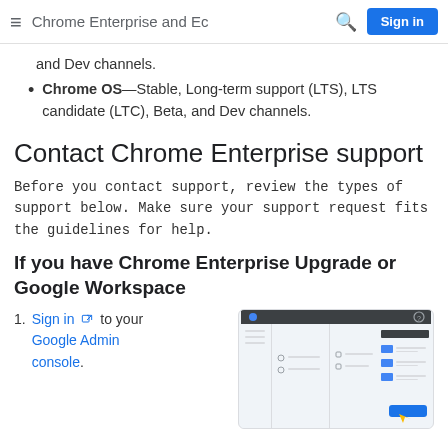Chrome Enterprise and Ec  Sign in
and Dev channels.
Chrome OS—Stable, Long-term support (LTS), LTS candidate (LTC), Beta, and Dev channels.
Contact Chrome Enterprise support
Before you contact support, review the types of support below. Make sure your support request fits the guidelines for help.
If you have Chrome Enterprise Upgrade or Google Workspace
Sign in [ext] to your Google Admin console.
[Figure (screenshot): Screenshot of Google Admin console interface showing navigation menu and settings panels]